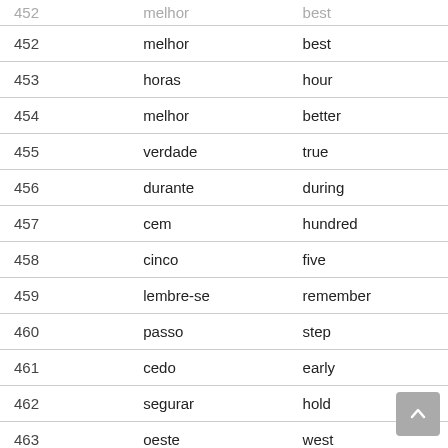| # | Portuguese | English |
| --- | --- | --- |
| 452 | melhor | best |
| 453 | horas | hour |
| 454 | melhor | better |
| 455 | verdade | true |
| 456 | durante | during |
| 457 | cem | hundred |
| 458 | cinco | five |
| 459 | lembre-se | remember |
| 460 | passo | step |
| 461 | cedo | early |
| 462 | segurar | hold |
| 463 | oeste | west |